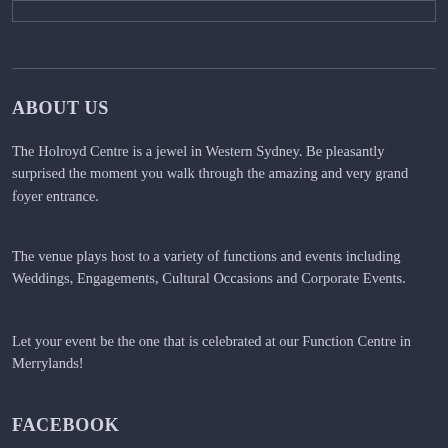ABOUT US
The Holroyd Centre is a jewel in Western Sydney. Be pleasantly surprised the moment you walk through the amazing and very grand foyer entrance.
The venue plays host to a variety of functions and events including Weddings, Engagements, Cultural Occasions and Corporate Events.
Let your event be the one that is celebrated at our Function Centre in Merrylands!
FACEBOOK